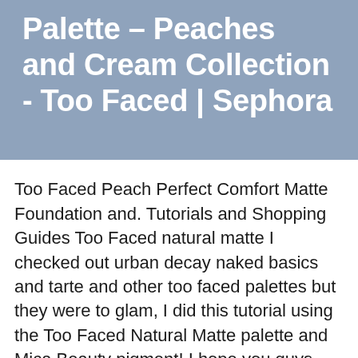Palette – Peaches and Cream Collection - Too Faced | Sephora
Too Faced Peach Perfect Comfort Matte Foundation and. Tutorials and Shopping Guides Too Faced natural matte I checked out urban decay naked basics and tarte and other too faced palettes but they were to glam, I did this tutorial using the Too Faced Natural Matte palette and Mica Beauty pigment! I hope you guys like talk thrus!